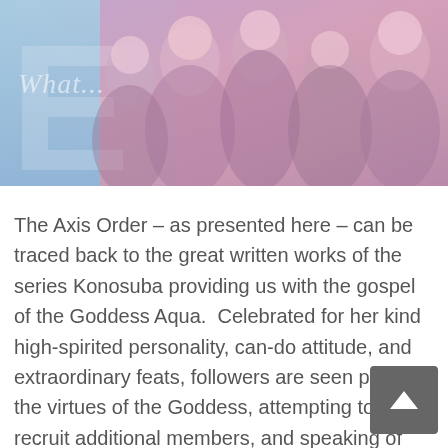[Figure (illustration): Banner image showing anime-style characters with pink/purple tones. On the left side is a blue section with italic watermark text reading 'What...' partially visible. Multiple anime characters fill the banner area.]
The Axis Order – as presented here – can be traced back to the great written works of the series Konosuba providing us with the gospel of the Goddess Aqua.  Celebrated for her kind high-spirited personality, can-do attitude, and extraordinary feats, followers are seen praising the virtues of the Goddess, attempting to recruit additional members, and speaking of their dislike for other factions.